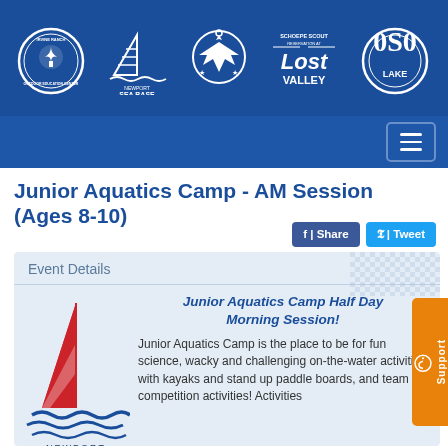[Figure (logo): Navigation header banner with logos: Irvine Ranch Outdoor Education Center, Newport Sea Base sailboat, Boy Scouts of America, Schoepe Scout Reservation at Lost Valley, OSO Lake]
Junior Aquatics Camp - AM Session (Ages 8-10)
Event Details
[Figure (logo): Newport Sea Base logo with red sail and blue waves]
Junior Aquatics Camp Half Day Morning Session!
Junior Aquatics Camp is the place to be for fun science, wacky and challenging on-the-water activities with kayaks and stand up paddle boards, and team competition activities! Activities...